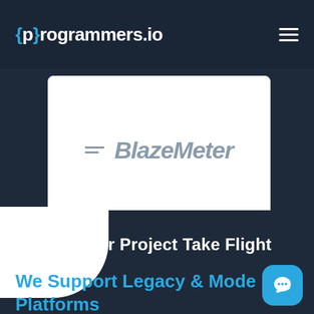{p}rogrammers.io
[Figure (logo): BlazeMeter logo with speed lines and italic wordmark in gray]
See Your Project Take Flight
We Support Legacy & Modern Platforms